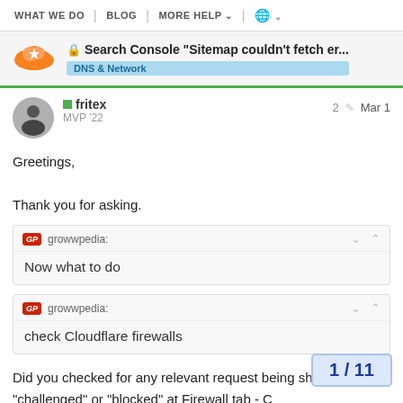WHAT WE DO | BLOG | MORE HELP | (globe)
Search Console "Sitemap couldn't fetch er...
DNS & Network
fritex  MVP '22  2  Mar 1
Greetings,

Thank you for asking.
growwpedia: Now what to do
growwpedia: check Cloudflare firewalls
Did you checked for any relevant request being shown as "challenged" or "blocked" at Firewall tab - C
1 / 11